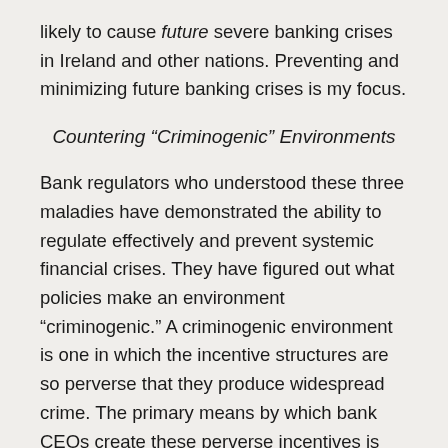likely to cause future severe banking crises in Ireland and other nations. Preventing and minimizing future banking crises is my focus.
Countering “Criminogenic” Environments
Bank regulators who understood these three maladies have demonstrated the ability to regulate effectively and prevent systemic financial crises. They have figured out what policies make an environment “criminogenic.” A criminogenic environment is one in which the incentive structures are so perverse that they produce widespread crime. The primary means by which bank CEOs create these perverse incentives is through compensation, retention, and promotion systems. Irish bank regulators can learn to identify and counter these perverse incentives, preventing and limiting the three maladies in the future and holding even elite individuals personally